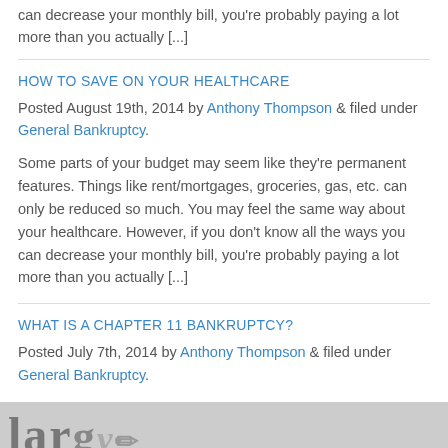can decrease your monthly bill, you're probably paying a lot more than you actually [...]
HOW TO SAVE ON YOUR HEALTHCARE
Posted August 19th, 2014 by Anthony Thompson & filed under General Bankruptcy.
Some parts of your budget may seem like they're permanent features. Things like rent/mortgages, groceries, gas, etc. can only be reduced so much. You may feel the same way about your healthcare. However, if you don't know all the ways you can decrease your monthly bill, you're probably paying a lot more than you actually [...]
WHAT IS A CHAPTER 11 BANKRUPTCY?
Posted July 7th, 2014 by Anthony Thompson & filed under General Bankruptcy.
[Figure (photo): Partial image of a document or newspaper with large text visible at the bottom of the page]